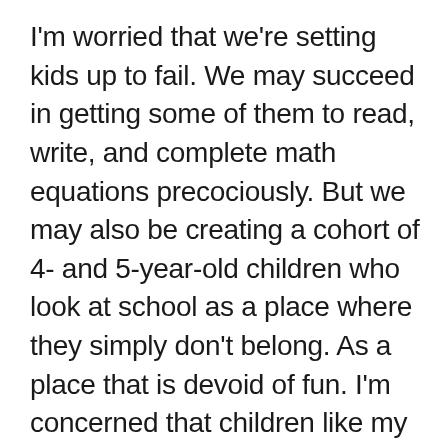I'm worried that we're setting kids up to fail. We may succeed in getting some of them to read, write, and complete math equations precociously. But we may also be creating a cohort of 4- and 5-year-old children who look at school as a place where they simply don't belong. As a place that is devoid of fun. I'm concerned that children like my daughter are forming a negative self-image when asked to perform cognitive tasks when they are clearly not able or not comfortable doing so. Children may not only form negative self-images and develop negative self-esteem, but they may also form negative impressions